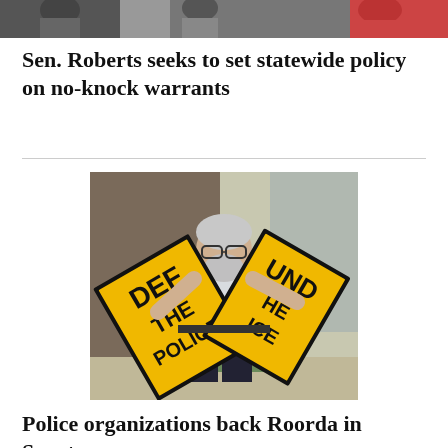[Figure (photo): Partial photo at top of page showing people, cropped]
Sen. Roberts seeks to set statewide policy on no-knock warrants
[Figure (photo): Man with gray beard and glasses holding torn 'DEFUND THE POLICE' signs outdoors]
Police organizations back Roorda in Senate